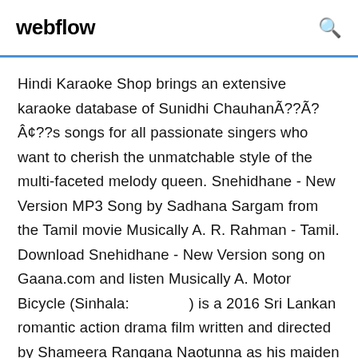webflow
Hindi Karaoke Shop brings an extensive karaoke database of Sunidhi ChauhanÃ??Ã?Â¢??s songs for all passionate singers who want to cherish the unmatchable style of the multi-faceted melody queen. Snehidhane - New Version MP3 Song by Sadhana Sargam from the Tamil movie Musically A. R. Rahman - Tamil. Download Snehidhane - New Version song on Gaana.com and listen Musically A. Motor Bicycle (Sinhala:              ) is a 2016 Sri Lankan romantic action drama film written and directed by Shameera Rangana Naotunna as his maiden cinematic direction. Follow me on Insta: http://insta.../VoiceOfRitu Live Concerts